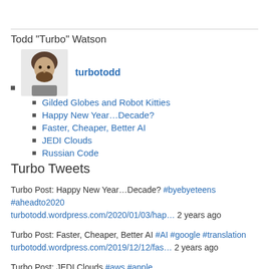Todd "Turbo" Watson
turbotodd
Gilded Globes and Robot Kitties
Happy New Year…Decade?
Faster, Cheaper, Better AI
JEDI Clouds
Russian Code
Turbo Tweets
Turbo Post: Happy New Year…Decade? #byebyeteens #aheadto2020 turbotodd.wordpress.com/2020/01/03/hap… 2 years ago
Turbo Post: Faster, Cheaper, Better AI #AI #google #translation turbotodd.wordpress.com/2019/12/12/fas… 2 years ago
Turbo Post: JEDI Clouds #aws #apple